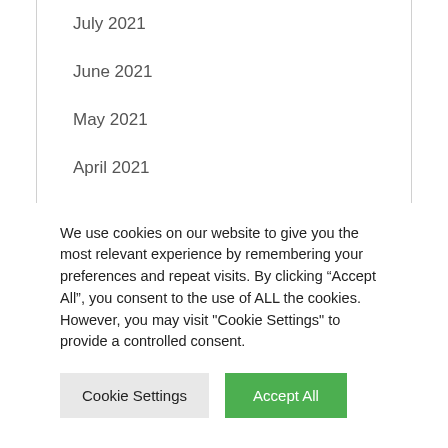July 2021
June 2021
May 2021
April 2021
March 2021
February 2021
We use cookies on our website to give you the most relevant experience by remembering your preferences and repeat visits. By clicking “Accept All”, you consent to the use of ALL the cookies. However, you may visit "Cookie Settings" to provide a controlled consent.
Cookie Settings   Accept All